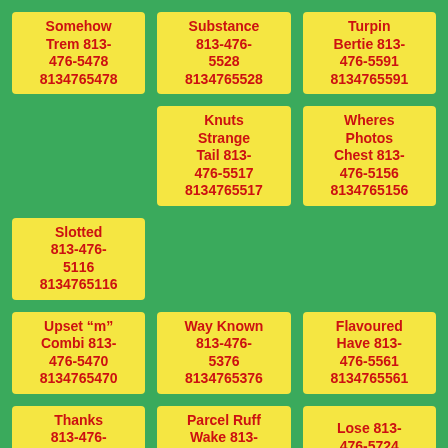Somehow Trem 813-476-5478 8134765478
Substance 813-476-5528 8134765528
Turpin Bertie 813-476-5591 8134765591
Knuts Strange Tail 813-476-5517 8134765517
Wheres Photos Chest 813-476-5156 8134765156
Slotted 813-476-5116 8134765116
Knuts Strange Tail 813-476-5517 8134765517
Wheres Photos Chest 813-476-5156 8134765156
Upset “m” Combi 813-476-5470 8134765470
Way Known 813-476-5376 8134765376
Flavoured Have 813-476-5561 8134765561
Thanks 813-476-5761 8134765761
Parcel Ruff Wake 813-476-5568 8134765568
Lose 813-476-5724 8134765724